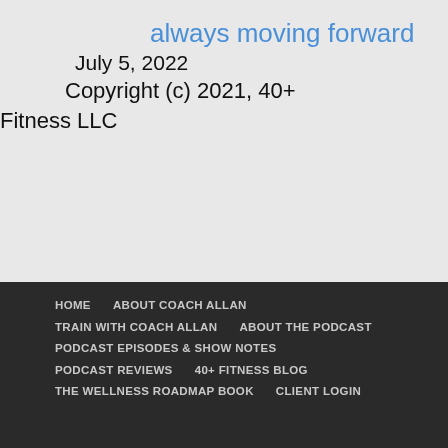always moving forward
July 5, 2022
Copyright (c) 2021, 40+ Fitness LLC
HOME  ABOUT COACH ALLAN  TRAIN WITH COACH ALLAN  ABOUT THE PODCAST  PODCAST EPISODES & SHOW NOTES  PODCAST REVIEWS  40+ FITNESS BLOG  THE WELLNESS ROADMAP BOOK  CLIENT LOGIN